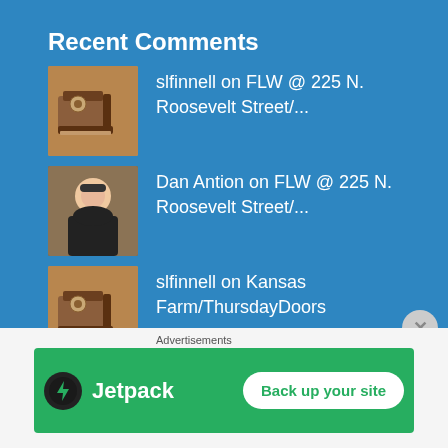Recent Comments
slfinnell on FLW @ 225 N. Roosevelt Street/...
Dan Antion on FLW @ 225 N. Roosevelt Street/...
slfinnell on Kansas Farm/ThursdayDoors
Brenda's Thoughts on Kansas Farm/ThursdayDoors
slfinnell on Kansas Farm/ThursdayDoors
Advertisements
[Figure (logo): Jetpack plugin advertisement banner with 'Back up your site' button on green background]